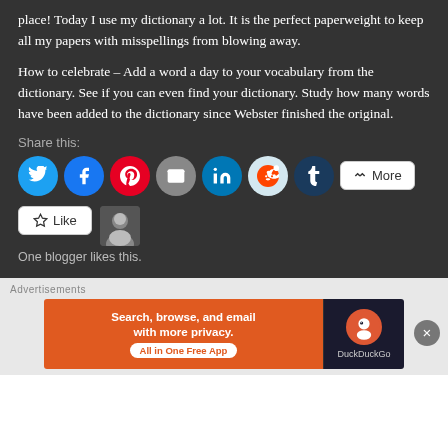place! Today I use my dictionary a lot. It is the perfect paperweight to keep all my papers with misspellings from blowing away.
How to celebrate – Add a word a day to your vocabulary from the dictionary. See if you can even find your dictionary. Study how many words have been added to the dictionary since Webster finished the original.
Share this:
[Figure (infographic): Social share buttons: Twitter, Facebook, Pinterest, Email, LinkedIn, Reddit, Tumblr, and More]
[Figure (infographic): Like button and blogger avatar thumbnail. Text: One blogger likes this.]
[Figure (infographic): Advertisement banner for DuckDuckGo: Search, browse, and email with more privacy. All in One Free App.]